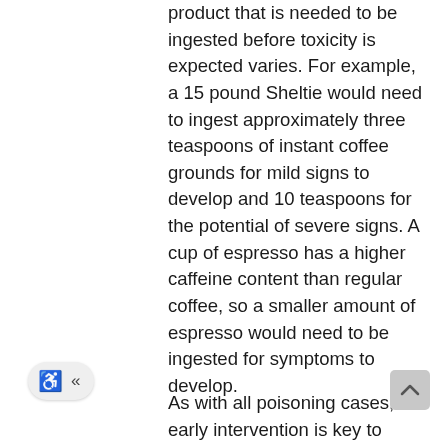product that is needed to be ingested before toxicity is expected varies. For example, a 15 pound Sheltie would need to ingest approximately three teaspoons of instant coffee grounds for mild signs to develop and 10 teaspoons for the potential of severe signs. A cup of espresso has a higher caffeine content than regular coffee, so a smaller amount of espresso would need to be ingested for symptoms to develop.
As with all poisoning cases, early intervention is key to